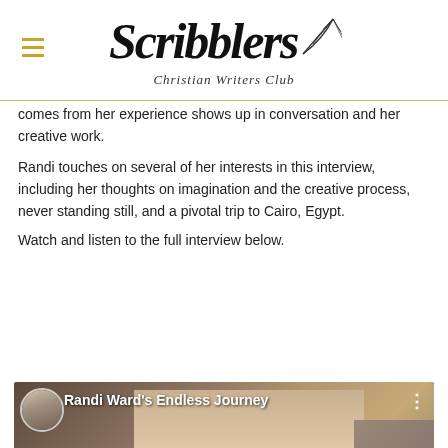Scribblers Christian Writers Club
comes from her experience shows up in conversation and her creative work.
Randi touches on several of her interests in this interview, including her thoughts on imagination and the creative process, never standing still, and a pivotal trip to Cairo, Egypt.
Watch and listen to the full interview below.
[Figure (screenshot): YouTube video thumbnail titled 'Randi Ward's Endless Journey' showing a smiling blonde woman and a male avatar icon, with a red YouTube play button in the center.]